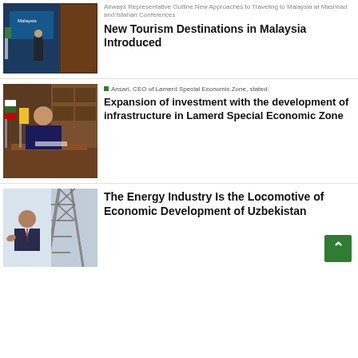Airways Representative Outline New Approaches to Traveling to Malaysia at Mashhad and Isfahan Conferences
New Tourism Destinations in Malaysia Introduced
Ansari, CEO of Lamerd Special Economic Zone, stated:
Expansion of investment with the development of infrastructure in Lamerd Special Economic Zone
The Energy Industry Is the Locomotive of Economic Development of Uzbekistan
[Figure (photo): Speaker at podium with Malaysia banner and flags]
[Figure (photo): Man seated at desk in office with Iranian flags]
[Figure (photo): Man speaking in front of industrial structure]